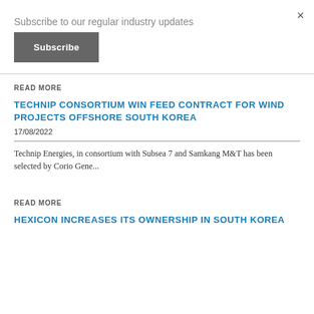Subscribe to our regular industry updates
Subscribe
READ MORE
TECHNIP CONSORTIUM WIN FEED CONTRACT FOR WIND PROJECTS OFFSHORE SOUTH KOREA
17/08/2022
Technip Energies, in consortium with Subsea 7 and Samkang M&T has been selected by Corio Gene...
READ MORE
HEXICON INCREASES ITS OWNERSHIP IN SOUTH KOREA